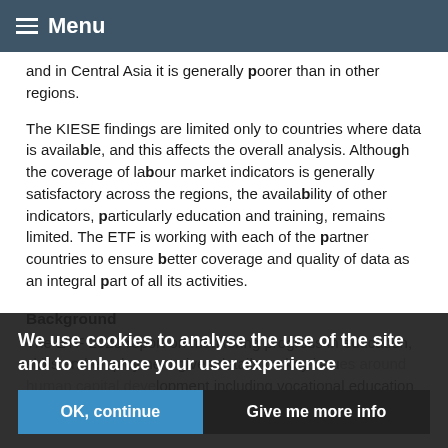Menu
and in Central Asia it is generally poorer than in other regions.
The KIESE findings are limited only to countries where data is available, and this affects the overall analysis. Although the coverage of labour market indicators is generally satisfactory across the regions, the availability of other indicators, particularly education and training, remains limited. The ETF is working with each of the partner countries to ensure better coverage and quality of data as an integral part of all its activities.
Background
The ETF 2020 report on monitoring progress in education, skills and employment gives details on key issues around human capital development including vocational education and training
We use cookies to analyse the use of the site and to enhance your user experience